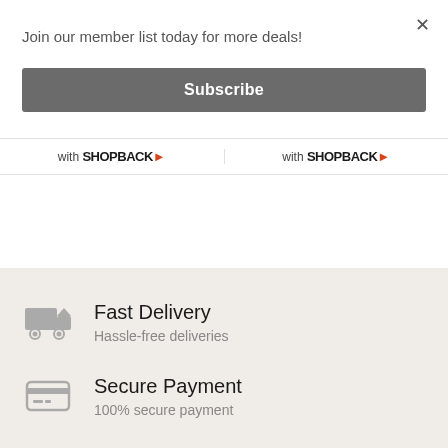×
Join our member list today for more deals!
Subscribe
with SHOPBACK▶
with SHOPBACK▶
Fast Delivery
Hassle-free deliveries
Secure Payment
100% secure payment